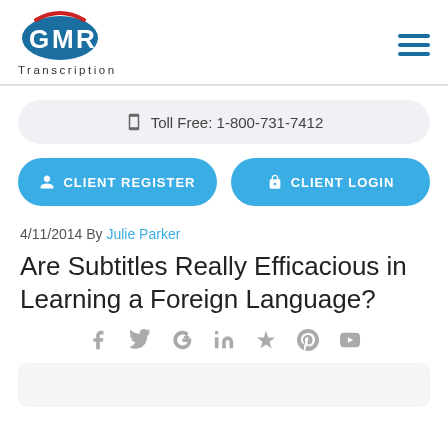GMR Transcription — Toll Free: 1-800-731-7412
CLIENT REGISTER | CLIENT LOGIN
4/11/2014 By Julie Parker
Are Subtitles Really Efficacious in Learning a Foreign Language?
[Figure (infographic): Social sharing icons row: Facebook, Twitter, Google+, LinkedIn, Yelp, Pinterest, YouTube]